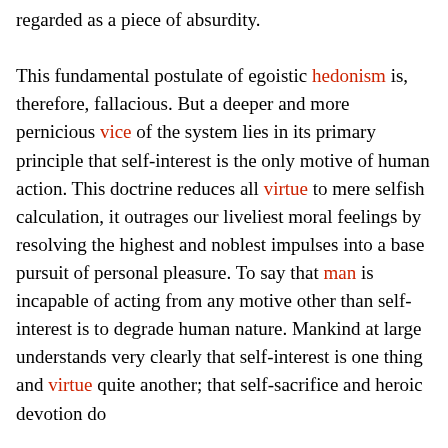regarded as a piece of absurdity.

This fundamental postulate of egoistic hedonism is, therefore, fallacious. But a deeper and more pernicious vice of the system lies in its primary principle that self-interest is the only motive of human action. This doctrine reduces all virtue to mere selfish calculation, it outrages our liveliest moral feelings by resolving the highest and noblest impulses into a base pursuit of personal pleasure. To say that man is incapable of acting from any motive other than self-interest is to degrade human nature. Mankind at large understands very clearly that self-interest is one thing and virtue quite another; that self-sacrifice and heroic devotion do